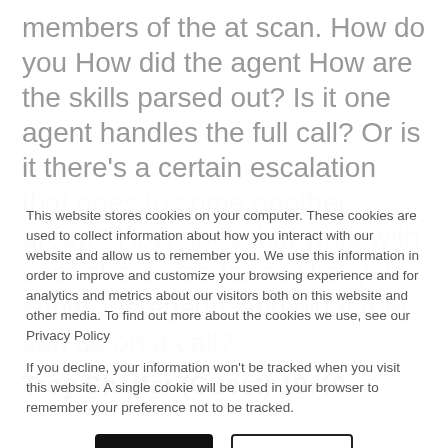members of the at scan. How do you How did the agent How are the skills parsed out? Is it one agent handles the full call? Or is it there's a certain escalation that goes to some another group? How does that work with over at scan as far as like, you know, the agents and what they can do on a call?
Troy Shaffer (Guest) 19:40
This website stores cookies on your computer. These cookies are used to collect information about how you interact with our website and allow us to remember you. We use this information in order to improve and customize your browsing experience and for analytics and metrics about our visitors both on this website and other media. To find out more about the cookies we use, see our Privacy Policy
If you decline, your information won't be tracked when you visit this website. A single cookie will be used in your browser to remember your preference not to be tracked.
Accept
Decline